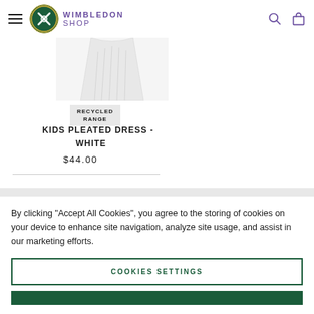WIMBLEDON SHOP
[Figure (photo): White kids pleated dress product image, partially visible from top]
RECYCLED RANGE
KIDS PLEATED DRESS - WHITE
$44.00
By clicking "Accept All Cookies", you agree to the storing of cookies on your device to enhance site navigation, analyze site usage, and assist in our marketing efforts.
COOKIES SETTINGS